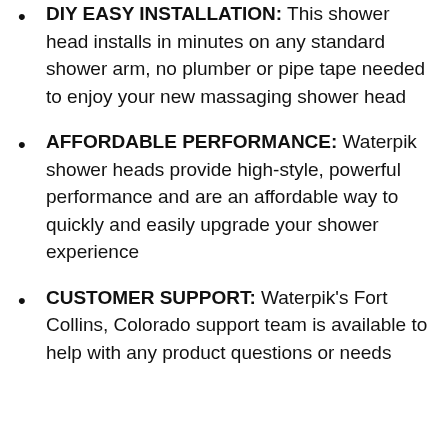DIY EASY INSTALLATION: This shower head installs in minutes on any standard shower arm, no plumber or pipe tape needed to enjoy your new massaging shower head
AFFORDABLE PERFORMANCE: Waterpik shower heads provide high-style, powerful performance and are an affordable way to quickly and easily upgrade your shower experience
CUSTOMER SUPPORT: Waterpik's Fort Collins, Colorado support team is available to help with any product questions or needs